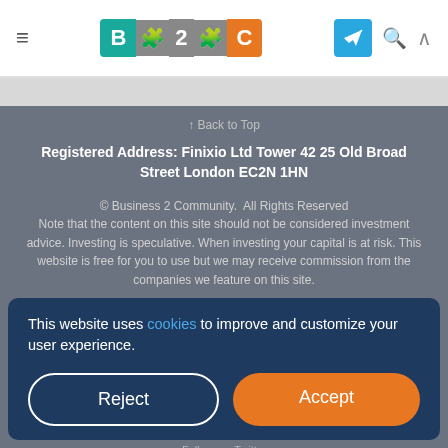B2C logo header with navigation icons
↑ Back to Top
Registered Address: Finixio Ltd Tower 42 25 Old Broad Street London EC2N 1HN
© Business 2 Community.  All Rights Reserved
Note that the content on this site should not be considered investment advice. Investing is speculative. When investing your capital is at risk. This website is free for you to use but we may receive commission from the companies we feature on this site.
This website uses cookies to improve and customize your user experience.
Reject
Accept
Follow us: Twitter...